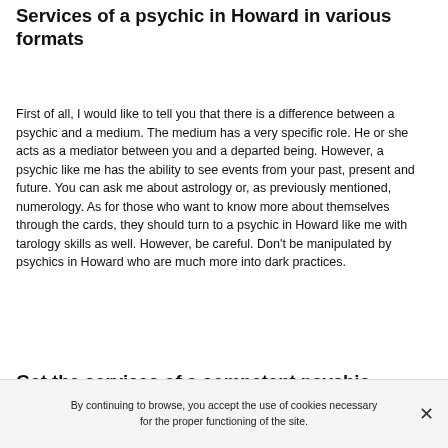Services of a psychic in Howard in various formats
First of all, I would like to tell you that there is a difference between a psychic and a medium. The medium has a very specific role. He or she acts as a mediator between you and a departed being. However, a psychic like me has the ability to see events from your past, present and future. You can ask me about astrology or, as previously mentioned, numerology. As for those who want to know more about themselves through the cards, they should turn to a psychic in Howard like me with tarology skills as well. However, be careful. Don't be manipulated by psychics in Howard who are much more into dark practices.
Get the services of a competent psychic
By continuing to browse, you accept the use of cookies necessary for the proper functioning of the site.